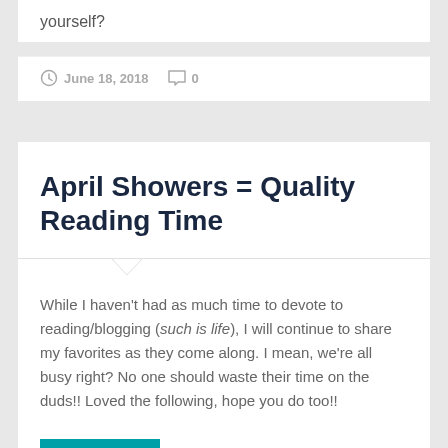yourself?
June 18, 2018   0
April Showers = Quality Reading Time
While I haven't had as much time to devote to reading/blogging (such is life), I will continue to share my favorites as they come along. I mean, we're all busy right? No one should waste their time on the duds!! Loved the following, hope you do too!!
[Figure (photo): Thumbnail image with teal/turquoise background showing a partial book cover or illustration]